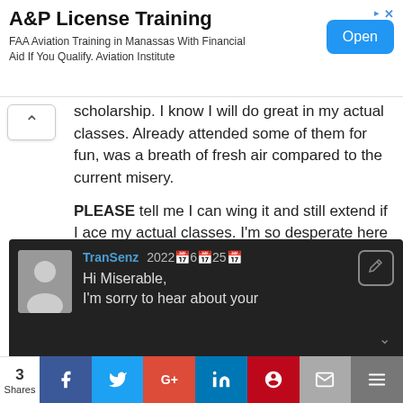[Figure (other): Advertisement banner for A&P License Training. Title: 'A&P License Training'. Subtitle: 'FAA Aviation Training in Manassas With Financial Aid If You Qualify. Aviation Institute'. Blue 'Open' button on right.]
scholarship. I know I will do great in my actual classes. Already attended some of them for fun, was a breath of fresh air compared to the current misery.
PLEASE tell me I can wing it and still extend if I ace my actual classes. I'm so desperate here and no one is helping me. Thank you
Reply
TranSenz 2022년6월25일
Hi Miserable,
I'm sorry to hear about your
3 Shares  [Facebook] [Twitter] [Google+] [LinkedIn] [Pinterest] [Email] [Bookmark]